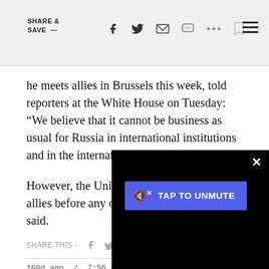SHARE & SAVE —
he meets allies in Brussels this week, told reporters at the White House on Tuesday: “We believe that it cannot be business as usual for Russia in international institutions and in the international community.”
However, the United States plans to consult allies before any other pronouncements, he said.
SHARE THIS -
160d ago / 7:56 AM UTC
Biden heads to Br… sanctions
Mithil Aggarwal
[Figure (screenshot): Video player overlay with black background, blue TAP TO UNMUTE button, and X close button in top right corner]